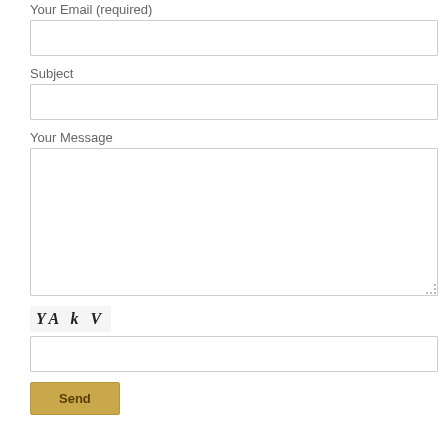Your Email (required)
[Figure (screenshot): Empty email input text box]
Subject
[Figure (screenshot): Empty subject input text box]
Your Message
[Figure (screenshot): Empty large message textarea]
[Figure (screenshot): CAPTCHA image displaying stylized text: YA k V]
[Figure (screenshot): Empty CAPTCHA input text box]
[Figure (screenshot): Send button with golden/tan background]